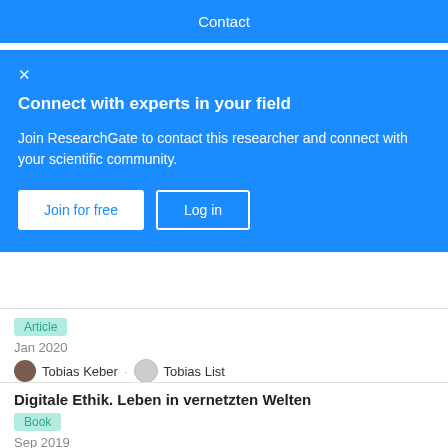Contact
Connect with experts in your field
Join ResearchGate to contact this researcher and connect with your scientific community.
Join for free   Log in
Article
Jan 2020
Tobias Keber · Tobias List
View
Digitale Ethik. Leben in vernetzten Welten
Book
Sep 2019
Petra Grimm · Tobias Keber · Oliver Zöllner